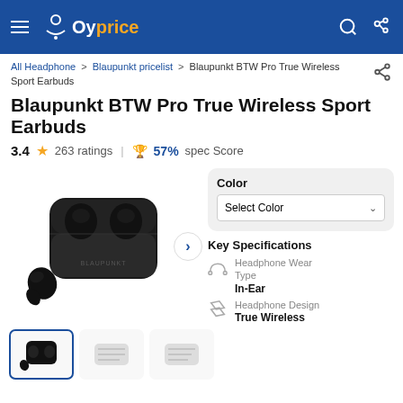Oyprice
All Headphone > Blaupunkt pricelist > Blaupunkt BTW Pro True Wireless Sport Earbuds
Blaupunkt BTW Pro True Wireless Sport Earbuds
3.4 ★ 263 ratings | 🏆 57% spec Score
[Figure (photo): Blaupunkt BTW Pro True Wireless Sport Earbuds product image showing black earbuds with charging case]
Color
Select Color
Key Specifications
Headphone Wear Type
In-Ear
Headphone Design
True Wireless